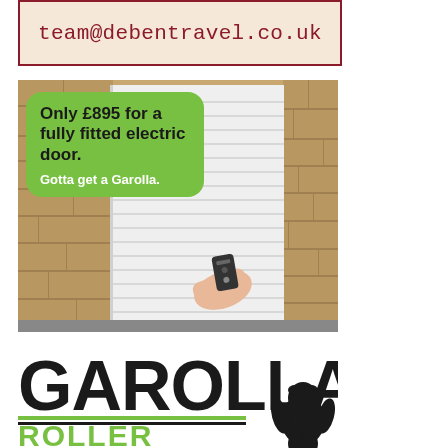[Figure (advertisement): Top advertisement banner with email address team@debentravel.co.uk on a light beige/cream background with dark red border]
[Figure (advertisement): Garolla roller shutter door advertisement showing a white electric garage door being operated by a hand holding a remote control, with stone wall surround. Green rounded rectangle overlay reads: Only £895 for a fully fitted electric door. Gotta get a Garolla.]
[Figure (logo): Garolla Roller Shutter logo: large bold black GAROLLA text, green and black horizontal lines, green ROLLER SHUTTER text below, gorilla silhouette on the right]